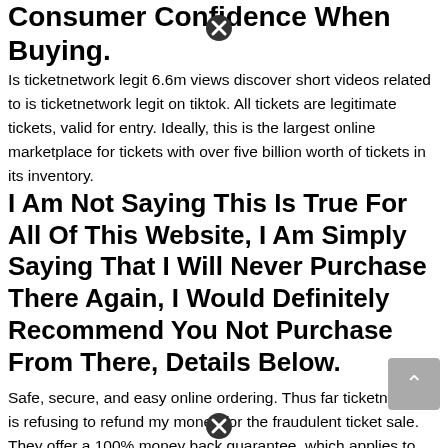Consumer Confidence When Buying.
Is ticketnetwork legit 6.6m views discover short videos related to is ticketnetwork legit on tiktok. All tickets are legitimate tickets, valid for entry. Ideally, this is the largest online marketplace for tickets with over five billion worth of tickets in its inventory.
I Am Not Saying This Is True For All Of This Website, I Am Simply Saying That I Will Never Purchase There Again, I Would Definitely Recommend You Not Purchase From There, Details Below.
Safe, secure, and easy online ordering. Thus far ticketnetwork is refusing to refund my money for the fraudulent ticket sale. They offer a 100% money back guarantee, which applies to the following: